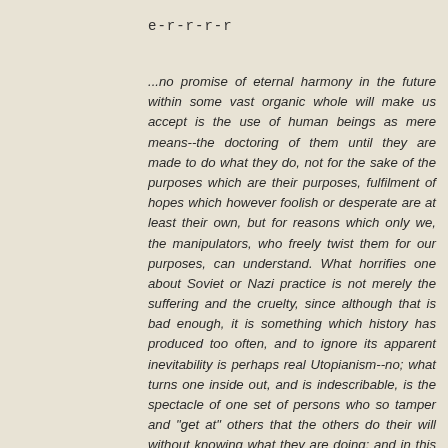e-r-r-r-r
...no promise of eternal harmony in the future within some vast organic whole will make us accept is the use of human beings as mere means--the doctoring of them until they are made to do what they do, not for the sake of the purposes which are their purposes, fulfilment of hopes which however foolish or desperate are at least their own, but for reasons which only we, the manipulators, who freely twist them for our purposes, can understand. What horrifies one about Soviet or Nazi practice is not merely the suffering and the cruelty, since although that is bad enough, it is something which history has produced too often, and to ignore its apparent inevitability is perhaps real Utopianism--no; what turns one inside out, and is indescribable, is the spectacle of one set of persons who so tamper and "get at" others that the others do their will without knowing what they are doing; and in this lose their status as free human beings, indeed